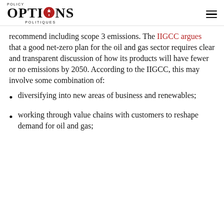Policy Options Politiques
recommend including scope 3 emissions. The IIGCC argues that a good net-zero plan for the oil and gas sector requires clear and transparent discussion of how its products will have fewer or no emissions by 2050. According to the IIGCC, this may involve some combination of:
diversifying into new areas of business and renewables;
working through value chains with customers to reshape demand for oil and gas;